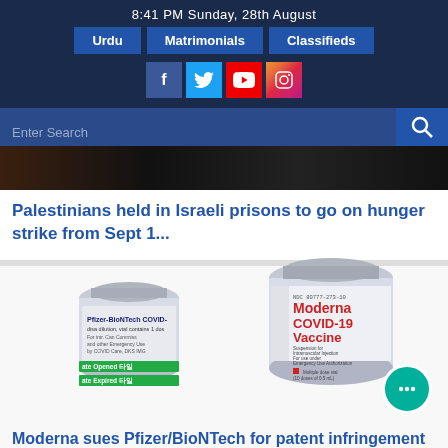8:41 PM Sunday, 28th August
Urdu | Matrimonials | Classifieds
Palestinians held in Israeli prisons to go on hunger strike from Sept 1...
[Figure (photo): Two COVID-19 vaccine vials: Pfizer-BioNTech COVID-19 vaccine (smaller, with green Date Opened and Date Expired labels) and Moderna COVID-19 Vaccine (larger, labeled Suspension for Intramuscular Injection, For use under Emergency Use Authorization, Multiple dose vial, 10 doses of 0.5mL)]
Moderna sues Pfizer/BioNTech for patent infringement over Covi...